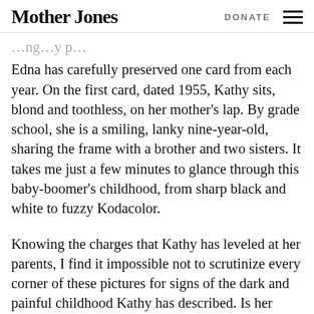Mother Jones | DONATE
Edna has carefully preserved one card from each year. On the first card, dated 1955, Kathy sits, blond and toothless, on her mother's lap. By grade school, she is a smiling, lanky nine-year-old, sharing the frame with a brother and two sisters. It takes me just a few minutes to glance through this baby-boomer's childhood, from sharp black and white to fuzzy Kodacolor.
Knowing the charges that Kathy has leveled at her parents, I find it impossible not to scrutinize every corner of these pictures for signs of the dark and painful childhood Kathy has described. Is her smile genuine in 1959? Do things look too perfect in 1965?